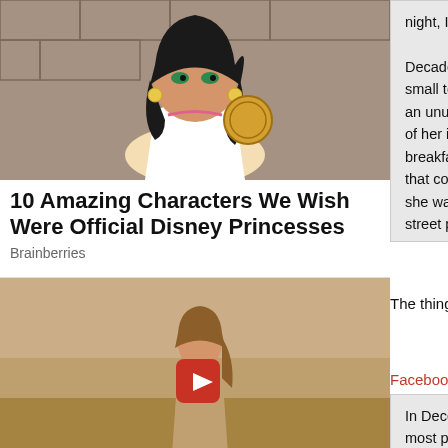[Figure (illustration): Animated Disney-style female character with dark hair, hoop earrings, tambourine, wearing white off-shoulder top]
10 Amazing Characters We Wish Were Official Disney Princesses
Brainberries
[Figure (screenshot): Video thumbnail of a woman outdoors with a YouTube play button overlay]
Before Clueless Alicia Dropped Jaws All The Way To The Floor!
Traitslab
night, I wanted to have an arrest. I wanted a body. Decades later, despite his efforts, the opioid epidemic small town with big-city problems" an hour outside an unusual phone call from his 18-year-old daughter of her independence: "I need your help, Dad." Simm breakfast at a Waffle House near the so-called heroin that connects major drug markets up and down the B she was addicted to opioid pain pills and didn't know street price, Simmers asked how Brooke, with no ob expensive pills. "She told me she was selling her bo
***
The things you find on the internet. The Museum Of E...
***
Facebook, is more invasive than you could imagine.
In December 2018, Privacy international exposed th... most popular apps in the world. Out of the 36 apps we tested, we found that 61% au...